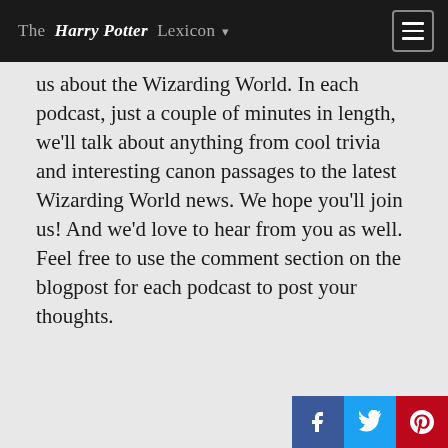The Harry Potter Lexicon
us about the Wizarding World. In each podcast, just a couple of minutes in length, we'll talk about anything from cool trivia and interesting canon passages to the latest Wizarding World news. We hope you'll join us! And we'd love to hear from you as well. Feel free to use the comment section on the blogpost for each podcast to post your thoughts.